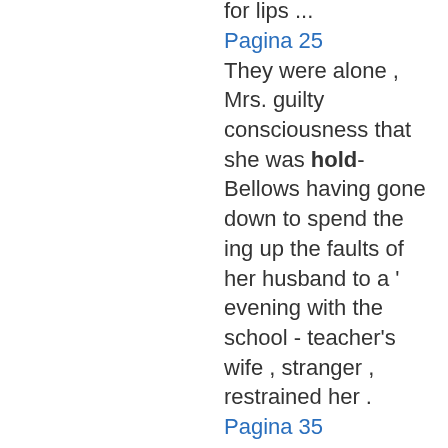for lips ...
Pagina 25
They were alone , Mrs. guilty consciousness that she was hold- Bellows having gone down to spend the ing up the faults of her husband to a ' evening with the school - teacher's wife , stranger , restrained her .
Pagina 35
Now , Mr. Grizzle , did , who must be audacious or nothing will you please not annoy me any was to get hold of Elizabeth's disen- more ? " gaged hand and squeeze it . The air She spoke this last in a passionate with which she withdrew ...
Pagina 36
... in the Won't you give